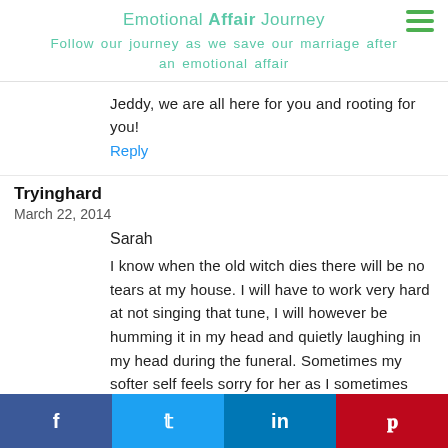Emotional Affair Journey
Follow our journey as we save our marriage after an emotional affair
Jeddy, we are all here for you and rooting for you!
Reply
Tryinghard
March 22, 2014
Sarah
I know when the old witch dies there will be no tears at my house. I will have to work very hard at not singing that tune, I will however be humming it in my head and quietly laughing in my head during the funeral. Sometimes my softer self feels sorry for her as I sometimes feel sorry for the OW but then I have choice and the have made theirs and are living and dying with the consequences of those